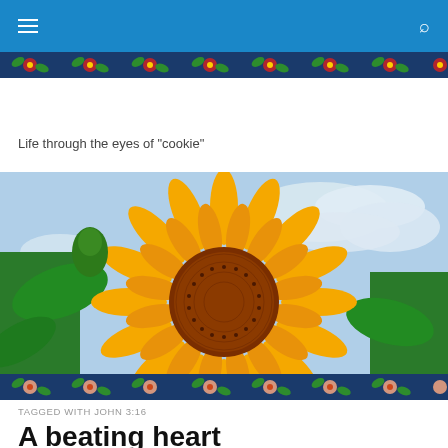Life through the eyes of "cookie"
[Figure (photo): Close-up photograph of a large sunflower with vibrant orange-yellow petals and dark reddish-brown center, against a partly cloudy sky with green plant leaves visible in background]
TAGGED WITH JOHN 3:16
A beating heart